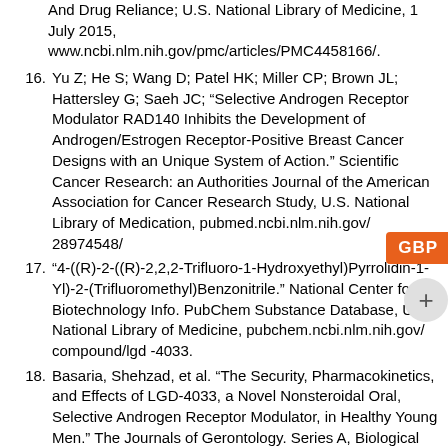And Drug Reliance; U.S. National Library of Medicine, 1 July 2015, www.ncbi.nlm.nih.gov/pmc/articles/PMC4458166/.
16. Yu Z; He S; Wang D; Patel HK; Miller CP; Brown JL; Hattersley G; Saeh JC; “Selective Androgen Receptor Modulator RAD140 Inhibits the Development of Androgen/Estrogen Receptor-Positive Breast Cancer Designs with an Unique System of Action.” Scientific Cancer Research: an Authorities Journal of the American Association for Cancer Research Study, U.S. National Library of Medication, pubmed.ncbi.nlm.nih.gov/ 28974548/
17. “4-((R)-2-((R)-2,2,2-Trifluoro-1-Hydroxyethyl)Pyrrolidin-1-Yl)-2-(Trifluoromethyl)Benzonitrile.” National Center for Biotechnology Info. PubChem Substance Database, U.S. National Library of Medicine, pubchem.ncbi.nlm.nih.gov/ compound/lgd -4033.
18. Basaria, Shehzad, et al. “The Security, Pharmacokinetics, and Effects of LGD-4033, a Novel Nonsteroidal Oral, Selective Androgen Receptor Modulator, in Healthy Young Men.” The Journals of Gerontology. Series A, Biological Sciences and Medical Sciences, Oxford University Press, Jan. 2013,